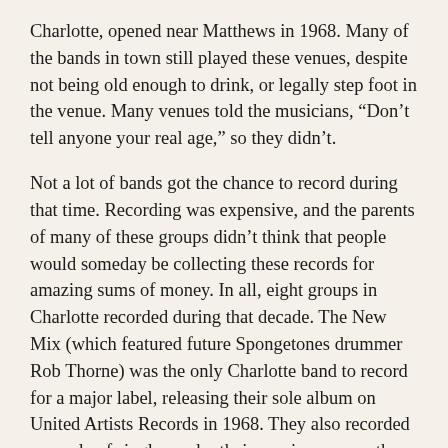Charlotte, opened near Matthews in 1968. Many of the bands in town still played these venues, despite not being old enough to drink, or legally step foot in the venue. Many venues told the musicians, “Don’t tell anyone your real age,” so they didn’t.
Not a lot of bands got the chance to record during that time. Recording was expensive, and the parents of many of these groups didn’t think that people would someday be collecting these records for amazing sums of money. In all, eight groups in Charlotte recorded during that decade. The New Mix (which featured future Spongetones drummer Rob Thorne) was the only Charlotte band to record for a major label, releasing their sole album on United Artists Records in 1968. They also recorded a couple of singles under their previous name, the 18th Edition. The Stowaways recorded an album in 1967 for the Winston-Salem based label, Justice Records. That album now goes for $400 to $600 in collector circles. When bands in Charlotte did record, they usually went to Arthur Smith Studios, named for its popular owner. Arthur Smith Studios was among the first large recording studios in the Southeast US to operate outside of Nashville,